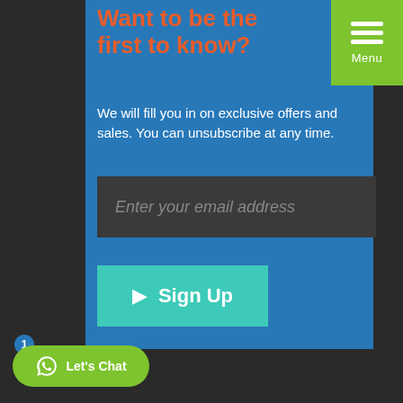Want to be the first to know?
We will fill you in on exclusive offers and sales. You can unsubscribe at any time.
[Figure (screenshot): Email input field with placeholder text 'Enter your email address' on dark background]
[Figure (screenshot): Teal 'Sign Up' button with arrow icon]
[Figure (screenshot): Green 'Let's Chat' WhatsApp button with notification badge showing 1]